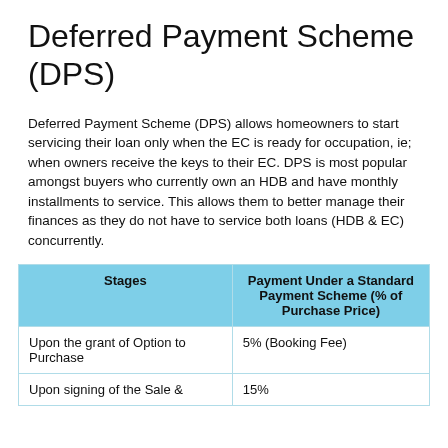Deferred Payment Scheme (DPS)
Deferred Payment Scheme (DPS) allows homeowners to start servicing their loan only when the EC is ready for occupation, ie; when owners receive the keys to their EC. DPS is most popular amongst buyers who currently own an HDB and have monthly installments to service. This allows them to better manage their finances as they do not have to service both loans (HDB & EC) concurrently.
| Stages | Payment Under a Standard Payment Scheme (% of Purchase Price) |
| --- | --- |
| Upon the grant of Option to Purchase | 5% (Booking Fee) |
| Upon signing of the Sale & | 15% |